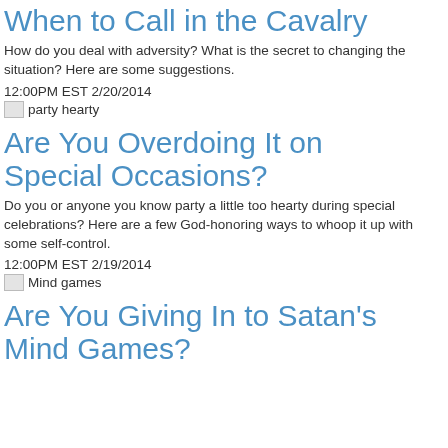When to Call in the Cavalry
How do you deal with adversity? What is the secret to changing the situation? Here are some suggestions.
12:00PM EST 2/20/2014
[Figure (illustration): Broken image placeholder labeled 'party hearty']
Are You Overdoing It on Special Occasions?
Do you or anyone you know party a little too hearty during special celebrations? Here are a few God-honoring ways to whoop it up with some self-control.
12:00PM EST 2/19/2014
[Figure (illustration): Broken image placeholder labeled 'Mind games']
Are You Giving In to Satan's Mind Games?